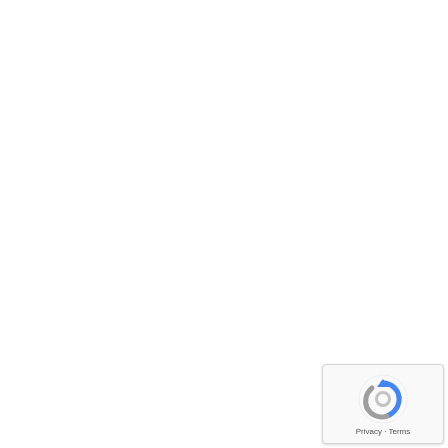reign. As prepared by the BTP
[Figure (other): reCAPTCHA privacy badge with blue circular arrow logo and 'Privacy - Terms' text]